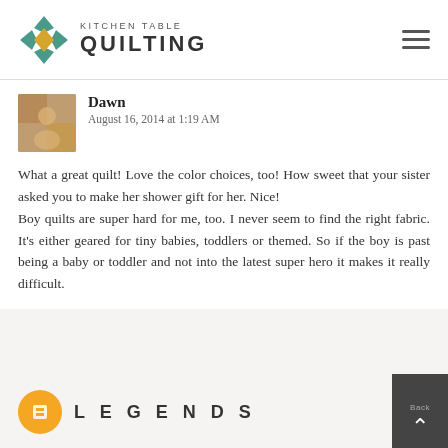[Figure (logo): Kitchen Table Quilting logo with geometric quilt block icon and text]
Dawn
August 16, 2014 at 1:19 AM
What a great quilt! Love the color choices, too! How sweet that your sister asked you to make her shower gift for her. Nice!
Boy quilts are super hard for me, too. I never seem to find the right fabric. It's either geared for tiny babies, toddlers or themed. So if the boy is past being a baby or toddler and not into the latest super hero it makes it really difficult.
LEGENDS